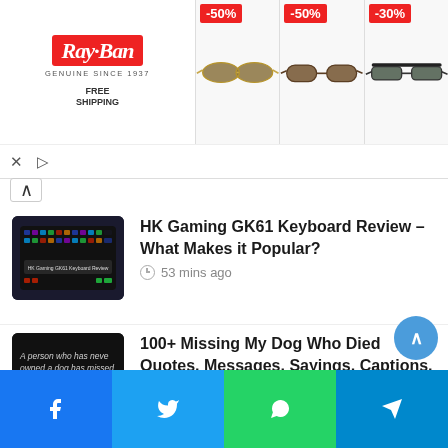[Figure (other): Ray-Ban advertisement banner with FREE SHIPPING label and three pairs of sunglasses at -50%, -50%, -30% discount]
HK Gaming GK61 Keyboard Review – What Makes it Popular? · 53 mins ago
100+ Missing My Dog Who Died Quotes, Messages, Sayings, Captions, Images 2022 · July 7, 2022
Quotes on What Others Think About You 2022: Best Tips To Stop Worrying · July 6, 2022
Facebook | Twitter | WhatsApp | Telegram